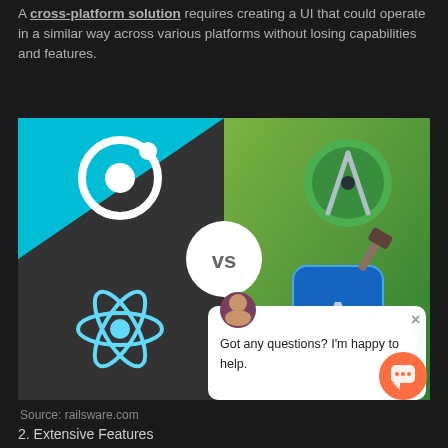A cross-platform solution requires creating a UI that could operate in a similar way across various platforms without losing capabilities and features.
[Figure (illustration): Split comparison image showing Ionic (top-left, cyan background) and React Native (bottom-left, dark background) logos on the left side vs Android Studio and Xcode logos on the right side (green background), with a 'VS' circle in the center. A chat popup overlay appears bottom-right with text 'Got any questions? I'm happy to help.' and a close X button and an avatar photo.]
Source: railsware.com
2. Extensive Features